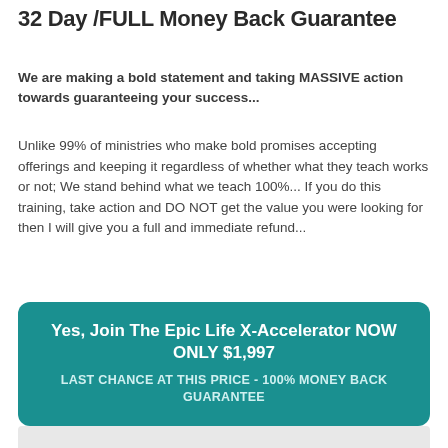32 Day /FULL Money Back Guarantee
We are making a bold statement and taking MASSIVE action towards guaranteeing your success...
Unlike 99% of ministries who make bold promises accepting offerings and keeping it regardless of whether what they teach works or not; We stand behind what we teach 100%... If you do this training, take action and DO NOT get the value you were looking for then I will give you a full and immediate refund...
Yes, Join The Epic Life X-Accelerator NOW ONLY $1,997
LAST CHANCE AT THIS PRICE - 100% MONEY BACK GUARANTEE